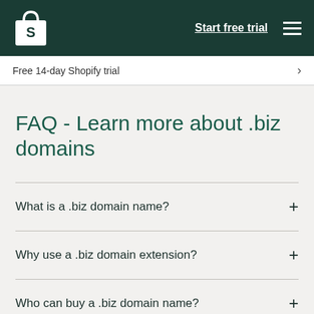Shopify logo | Start free trial | Menu
Free 14-day Shopify trial
FAQ - Learn more about .biz domains
What is a .biz domain name?
Why use a .biz domain extension?
Who can buy a .biz domain name?